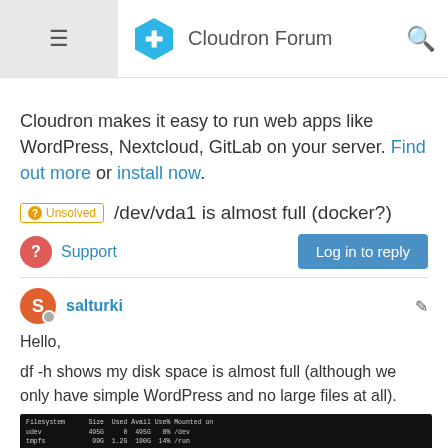Cloudron Forum
Cloudron makes it easy to run web apps like WordPress, Nextcloud, GitLab on your server. Find out more or install now.
Unsolved /dev/vda1 is almost full (docker?)
Support
salturki
Hello,
df -h shows my disk space is almost full (although we only have simple WordPress and no large files at all).
[Figure (screenshot): Terminal output showing df -h disk usage with filesystem, size, used, avail, use%, mounted on columns]